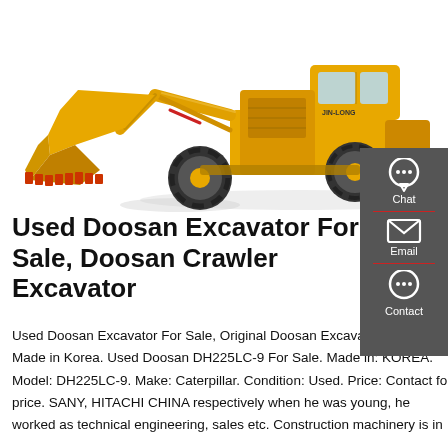[Figure (photo): Yellow wheel loader / front loader construction machine (branded JIN-LONG) with large front bucket, on white background]
Used Doosan Excavator For Sale, Doosan Crawler Excavator
Used Doosan Excavator For Sale, Original Doosan Excavator For Sale, Made in Korea. Used Doosan DH225LC-9 For Sale. Made in: KOREA. Model: DH225LC-9. Make: Caterpillar. Condition: Used. Price: Contact for price. SANY, HITACHI CHINA respectively when he was young, he worked as technical engineering, sales etc. Construction machinery is in